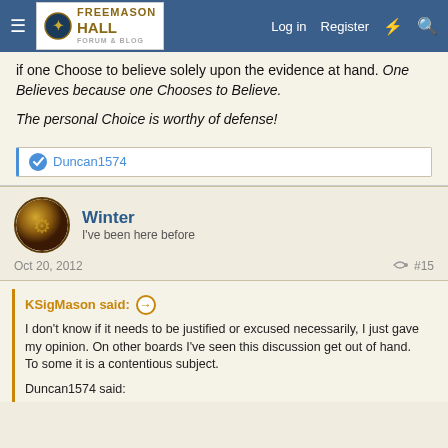Freemason Hall — Log in | Register
if one Choose to believe solely upon the evidence at hand. One Believes because one Chooses to Believe.
The personal Choice is worthy of defense!
Duncan1574
Winter
I've been here before
Oct 20, 2012
#15
KSigMason said:
I don't know if it needs to be justified or excused necessarily, I just gave my opinion. On other boards I've seen this discussion get out of hand. To some it is a contentious subject.
Duncan1574 said: